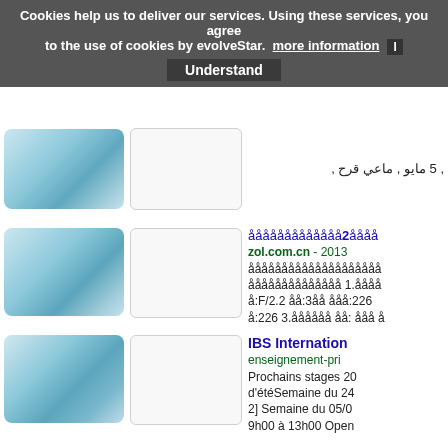Cookies help us to deliver our services. Using these services, you agree to the use of cookies by evolveStar. more information | Understand
5 مايو , ماعي قرح ,
ååååååååååååååå2åååå
zol.com.cn - 2013
åååååååååååååååååååå ååååååååååååååå 1.åååå å:F/2.2 åå:3åå ååå:226 å:226 3.åååååå åå: ååå å
IBS Internation
enseignement-pri
Prochains stages 20 d'étéSemaine du 24 2] Semaine du 05/0 9h00 à 13h00 Open
Dohodár a náhr
porada.sk - 2013-
Mám dohodára - pra poistený/. Vykonáva odpracovaných hod práceneschopnosť /